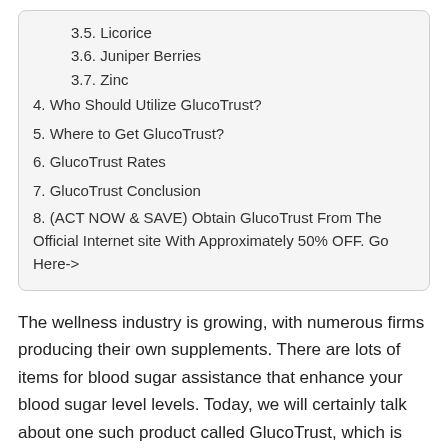3.5. Licorice
3.6. Juniper Berries
3.7. Zinc
4. Who Should Utilize GlucoTrust?
5. Where to Get GlucoTrust?
6. GlucoTrust Rates
7. GlucoTrust Conclusion
8. (ACT NOW & SAVE) Obtain GlucoTrust From The Official Internet site With Approximately 50% OFF. Go Here->
The wellness industry is growing, with numerous firms producing their own supplements. There are lots of items for blood sugar assistance that enhance your blood sugar level levels. Today, we will certainly talk about one such product called GlucoTrust, which is coming to be Glucotrust West